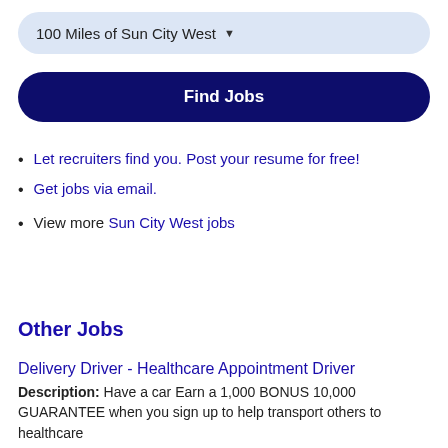100 Miles of Sun City West
Find Jobs
Let recruiters find you. Post your resume for free!
Get jobs via email.
View more Sun City West jobs
Other Jobs
Delivery Driver - Healthcare Appointment Driver
Description: Have a car Earn a 1,000 BONUS 10,000 GUARANTEE when you sign up to help transport others to healthcare